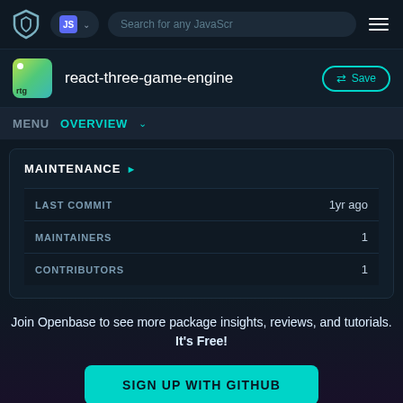JS  Search for any JavaScr
react-three-game-engine
MENU  OVERVIEW
MAINTENANCE
|  |  |
| --- | --- |
| LAST COMMIT | 1yr ago |
| MAINTAINERS | 1 |
| CONTRIBUTORS | 1 |
Join Openbase to see more package insights, reviews, and tutorials. It's Free!
SIGN UP WITH GITHUB
By signing up, you agree to our terms and privacy policy